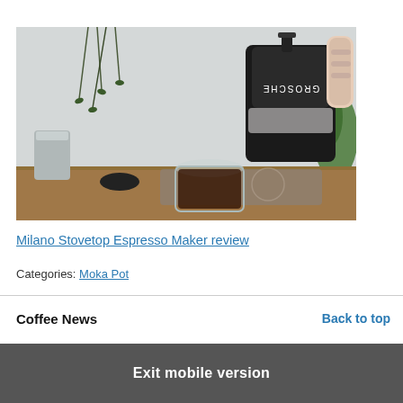[Figure (photo): A black Grosche Milano stovetop espresso maker (moka pot) pouring dark coffee into a clear glass double-walled cup on a wooden surface, with a plant and blurred background.]
Milano Stovetop Espresso Maker review
Categories: Moka Pot
Coffee News
Back to top
Exit mobile version